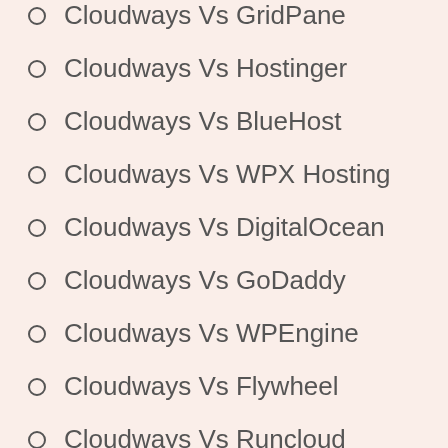Cloudways Vs GridPane
Cloudways Vs Hostinger
Cloudways Vs BlueHost
Cloudways Vs WPX Hosting
Cloudways Vs DigitalOcean
Cloudways Vs GoDaddy
Cloudways Vs WPEngine
Cloudways Vs Flywheel
Cloudways Vs Runcloud